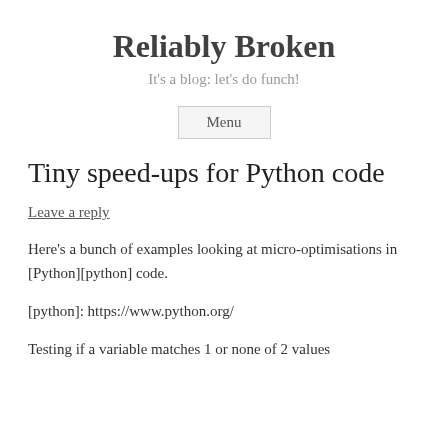Reliably Broken
It's a blog: let's do funch!
Menu
Tiny speed-ups for Python code
Leave a reply
Here's a bunch of examples looking at micro-optimisations in [Python][python] code.
[python]: https://www.python.org/
Testing if a variable matches 1 or none of 2 values